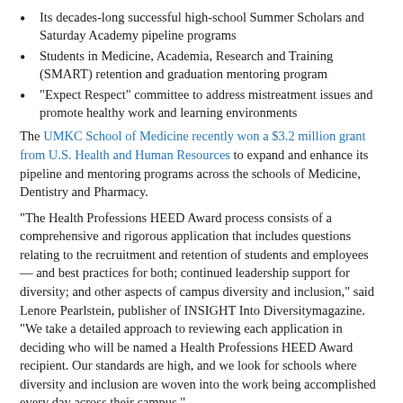Its decades-long successful high-school Summer Scholars and Saturday Academy pipeline programs
Students in Medicine, Academia, Research and Training (SMART) retention and graduation mentoring program
“Expect Respect” committee to address mistreatment issues and promote healthy work and learning environments
The UMKC School of Medicine recently won a $3.2 million grant from U.S. Health and Human Resources to expand and enhance its pipeline and mentoring programs across the schools of Medicine, Dentistry and Pharmacy.
“The Health Professions HEED Award process consists of a comprehensive and rigorous application that includes questions relating to the recruitment and retention of students and employees — and best practices for both; continued leadership support for diversity; and other aspects of campus diversity and inclusion,” said Lenore Pearlstein, publisher of INSIGHT Into Diversitymagazine.  “We take a detailed approach to reviewing each application in deciding who will be named a Health Professions HEED Award recipient. Our standards are high, and we look for schools where diversity and inclusion are woven into the work being accomplished every day across their campus.”
| Article by Stacy Downs, Strategic Marketing and Communications